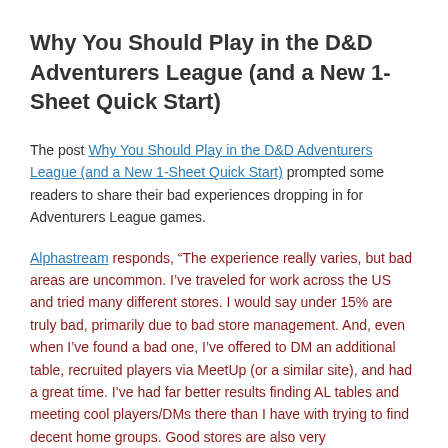Why You Should Play in the D&D Adventurers League (and a New 1-Sheet Quick Start)
The post Why You Should Play in the D&D Adventurers League (and a New 1-Sheet Quick Start) prompted some readers to share their bad experiences dropping in for Adventurers League games.
Alphastream responds, "The experience really varies, but bad areas are uncommon. I've traveled for work across the US and tried many different stores. I would say under 15% are truly bad, primarily due to bad store management. And, even when I've found a bad one, I've offered to DM an additional table, recruited players via MeetUp (or a similar site), and had a great time. I've had far better results finding AL tables and meeting cool players/DMs there than I have with trying to find decent home groups. Good stores are also very...